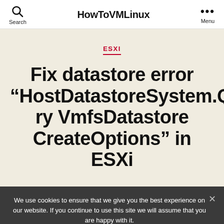Search | HowToVMLinux | Menu
ESXI
Fix datastore error “HostDatastoreSystem.QueryVmfsDatastoreCreateOptions” in ESXi
We use cookies to ensure that we give you the best experience on our website. If you continue to use this site we will assume that you are happy with it.
Accept | Don't Accept | Privacy policy